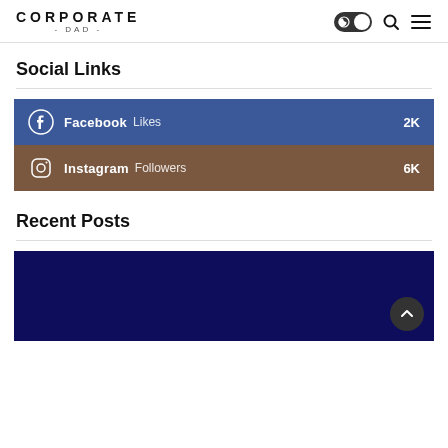CORPORATE - DAD -
Social Links
Facebook Likes 2K
Instagram Followers 6K
Recent Posts
[Figure (photo): Dark navy blue image block for recent posts section with a scroll-to-top button]